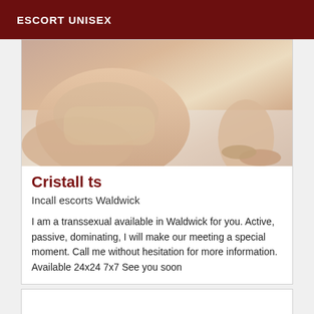ESCORT UNISEX
[Figure (photo): Close-up photo of a person in beige underwear kneeling on a white surface, cropped to show torso, hips, and legs.]
Cristall ts
Incall escorts Waldwick
I am a transsexual available in Waldwick for you. Active, passive, dominating, I will make our meeting a special moment. Call me without hesitation for more information. Available 24x24 7x7 See you soon